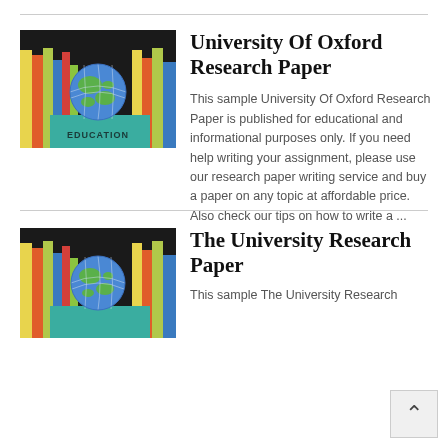[Figure (photo): Photo of colorful books with a globe on top of a teal book labeled EDUCATION]
University Of Oxford Research Paper
This sample University Of Oxford Research Paper is published for educational and informational purposes only. If you need help writing your assignment, please use our research paper writing service and buy a paper on any topic at affordable price. Also check our tips on how to write a ...
[Figure (photo): Photo of colorful books with a globe on top of a teal book labeled EDUCATION]
The University Research Paper
This sample The University Research